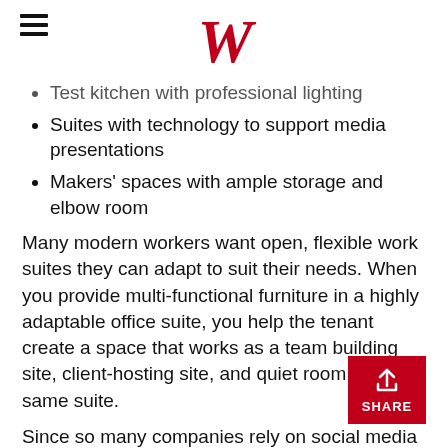W
Test kitchen with professional lighting
Suites with technology to support media presentations
Makers' spaces with ample storage and elbow room
Many modern workers want open, flexible work suites they can adapt to suit their needs. When you provide multi-functional furniture in a highly adaptable office suite, you help the tenant create a space that works as a team building site, client-hosting site, and quiet room all in the same suite.
Since so many companies rely on social media and online videos for marketing, a big selling